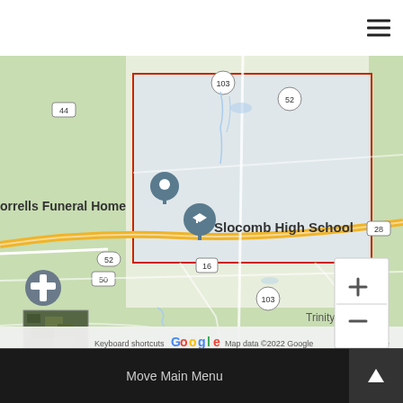[Figure (screenshot): Mobile website header with hamburger menu icon (three horizontal lines) on white background]
[Figure (map): Google Maps screenshot showing Slocomb, Alabama area with pins for Slocomb High School and Corrells Funeral Home. A red rectangle outlines a district boundary. Roads labeled 44, 52, 103, 16, 50, 28 are visible. Map shows zoom controls (+/-) and thumbnail satellite imagery. Bottom bar shows 'Keyboard shortcuts', 'Map data ©2022 Google', 'Terms of Use', Google logo, and 'Trinity Meta...' text.]
Move Main Menu